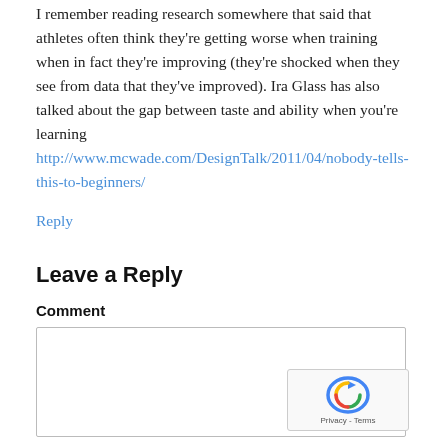I remember reading research somewhere that said that athletes often think they're getting worse when training when in fact they're improving (they're shocked when they see from data that they've improved). Ira Glass has also talked about the gap between taste and ability when you're learning http://www.mcwade.com/DesignTalk/2011/04/nobody-tells-this-to-beginners/
Reply
Leave a Reply
Comment
[Figure (other): Comment text area input box with reCAPTCHA badge overlay showing Privacy - Terms]